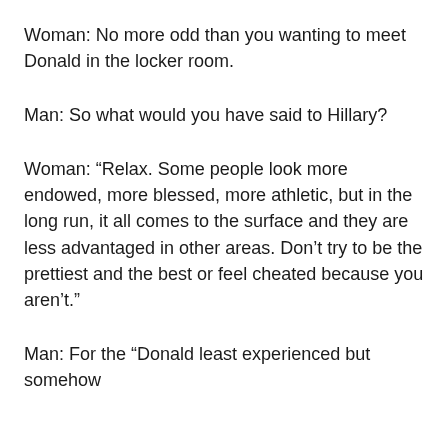Woman: No more odd than you wanting to meet Donald in the locker room.
Man: So what would you have said to Hillary?
Woman: “Relax. Some people look more endowed, more blessed, more athletic, but in the long run, it all comes to the surface and they are less advantaged in other areas. Don’t try to be the prettiest and the best or feel cheated because you aren’t.”
Man: For the “Donald least experienced but somehow...